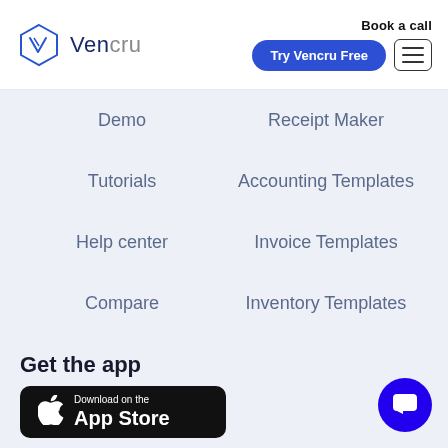[Figure (logo): Vencru hexagon logo with letter V and brand name Vencru]
Book a call
Try Vencru Free
Demo
Receipt Maker
Tutorials
Accounting Templates
Help center
Invoice Templates
Compare
Inventory Templates
Templates
Expense Reports
Get the app
[Figure (other): Download on the App Store badge (black)]